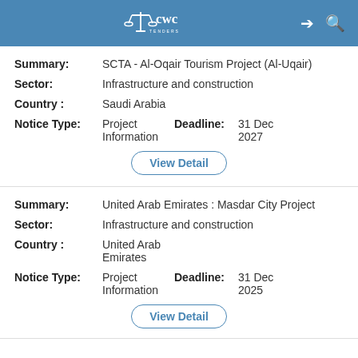CWC Tenders
Summary: SCTA - Al-Oqair Tourism Project (Al-Uqair)
Sector: Infrastructure and construction
Country: Saudi Arabia
Notice Type: Project Information
Deadline: 31 Dec 2027
View Detail
Summary: United Arab Emirates : Masdar City Project
Sector: Infrastructure and construction
Country: United Arab Emirates
Notice Type: Project Information
Deadline: 31 Dec 2025
View Detail